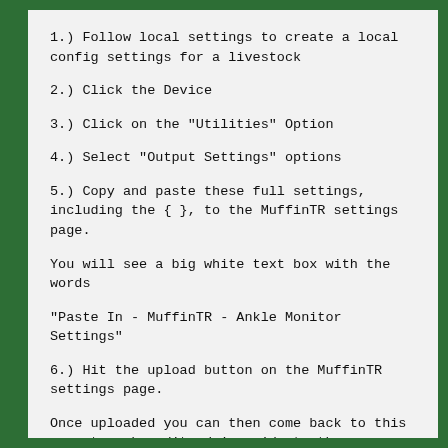1.) Follow local settings to create a local config settings for a livestock
2.) Click the Device
3.) Click on the "Utilities" Option
4.) Select "Output Settings" options
5.) Copy and paste these full settings, including the { }, to the MuffinTR settings page.
You will see a big white text box with the words
"Paste In - MuffinTR - Ankle Monitor Settings"
6.) Hit the upload button on the MuffinTR settings page.
Once uploaded you can then come back to this page to make edits dairy wide to the settings. Including uploading new setting full files.
7.) Click the device